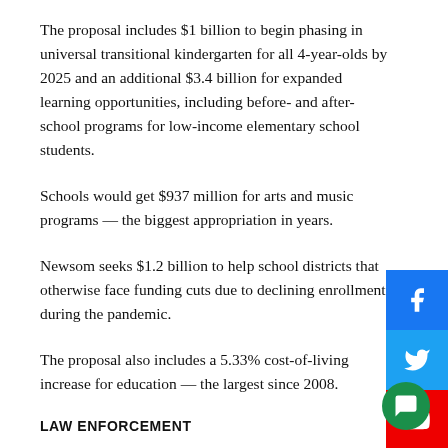The proposal includes $1 billion to begin phasing in universal transitional kindergarten for all 4-year-olds by 2025 and an additional $3.4 billion for expanded learning opportunities, including before- and after-school programs for low-income elementary school students.
Schools would get $937 million for arts and music programs — the biggest appropriation in years.
Newsom seeks $1.2 billion to help school districts that otherwise face funding cuts due to declining enrollment during the pandemic.
The proposal also includes a 5.33% cost-of-living increase for education — the largest since 2008.
LAW ENFORCEMENT
About 100 of California's nearly 700 condemned inmates have transferred to other prisons since March 2020 under a previously